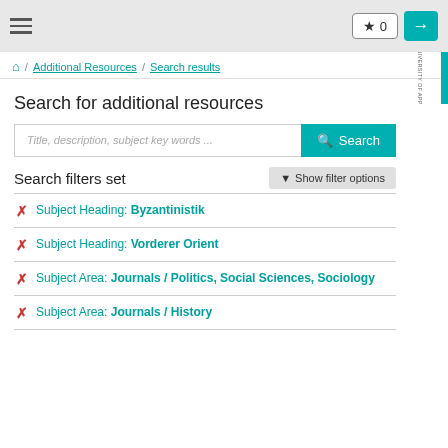☰  ★0  →
⌂ / Additional Resources / Search results
Search for additional resources
Title, description, subject key words ... [Search button]
Search filters set
▼ Show filter options
Subject Heading: Byzantinistik
Subject Heading: Vorderer Orient
Subject Area: Journals / Politics, Social Sciences, Sociology
Subject Area: Journals / History